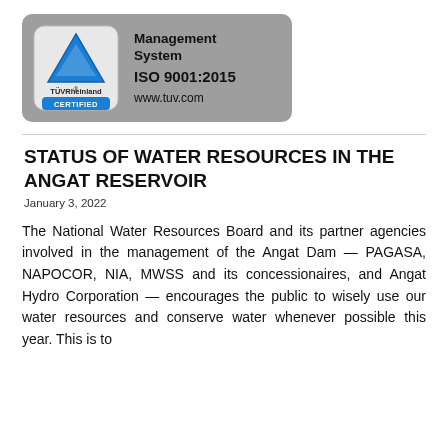[Figure (logo): TÜVRheinland Certified Management System ISO 9001:2015 badge with blue triangle logo and www.tuv.com]
STATUS OF WATER RESOURCES IN THE ANGAT RESERVOIR
January 3, 2022
The National Water Resources Board and its partner agencies involved in the management of the Angat Dam — PAGASA, NAPOCOR, NIA, MWSS and its concessionaires, and Angat Hydro Corporation — encourages the public to wisely use our water resources and conserve water whenever possible this year. This is to